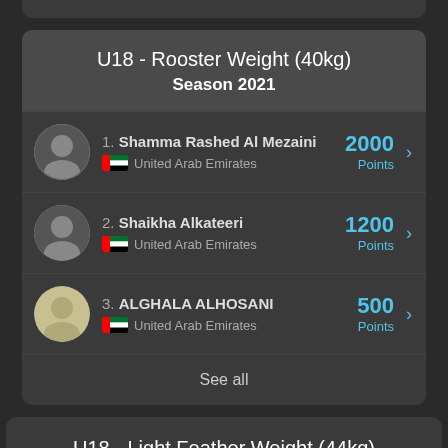U18 - Rooster Weight (40kg)
Season 2021
1. Shamma Rashed Al Mezaini — United Arab Emirates — 2000 Points
2. Shaikha Alkateeri — United Arab Emirates — 1200 Points
3. ALGHALA ALHOSANI — United Arab Emirates — 500 Points
See all
U18 - Light Feather Weight (44kg)